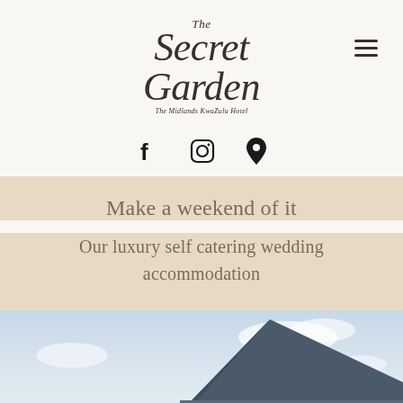[Figure (logo): The Secret Garden logo in italic script with subtitle 'The Midlands KwaZulu Hotel']
[Figure (infographic): Social media icons: Facebook (f), Instagram (camera), and location pin map marker]
Make a weekend of it
Our luxury self catering wedding accommodation
[Figure (photo): Exterior photo of a modern building with a triangular dark slate roof peak against a cloudy sky]